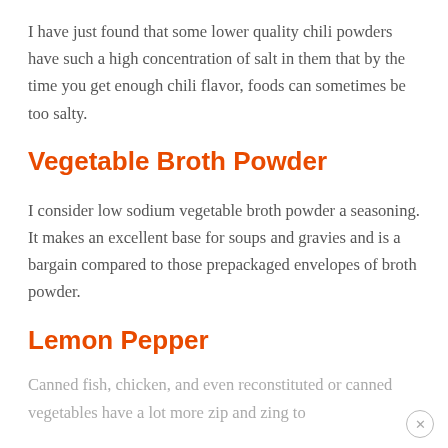I have just found that some lower quality chili powders have such a high concentration of salt in them that by the time you get enough chili flavor, foods can sometimes be too salty.
Vegetable Broth Powder
I consider low sodium vegetable broth powder a seasoning. It makes an excellent base for soups and gravies and is a bargain compared to those prepackaged envelopes of broth powder.
Lemon Pepper
Canned fish, chicken, and even reconstituted or canned vegetables have a lot more zip and zing to